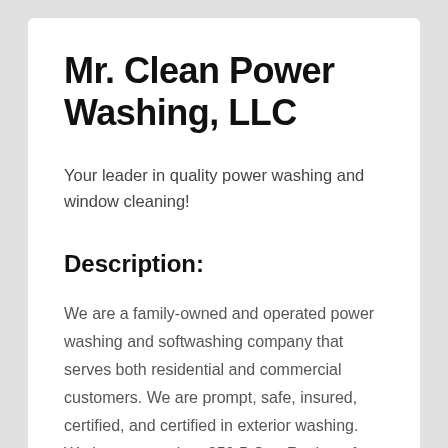Mr. Clean Power Washing, LLC
Your leader in quality power washing and window cleaning!
Description:
We are a family-owned and operated power washing and softwashing company that serves both residential and commercial customers. We are prompt, safe, insured, certified, and certified in exterior washing. We have more than 250 5-Star Reviews from Google, HomeAdvisor and Facebook. We treat every property as if it were our own and guarantee 100% customer satisfaction on every job we do.